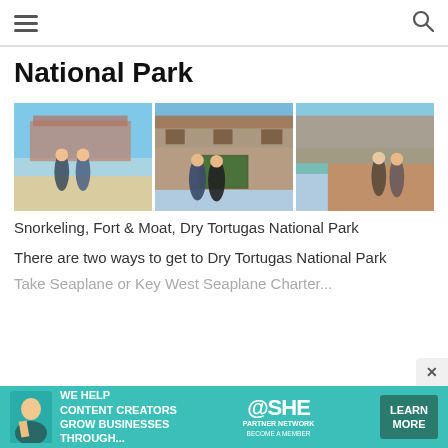≡  🔍
National Park
[Figure (photo): Three side-by-side photos at Dry Tortugas National Park: (1) two people in snorkeling gear standing in shallow water with Fort Jefferson in background, (2) two people standing at the Fort Jefferson National Park sign, (3) two people standing on a brick walkway/moat with fort walls behind them]
Snorkeling, Fort & Moat, Dry Tortugas National Park
There are two ways to get to Dry Tortugas National Park
Take Seaplane or Key West Seaplane Charter...
[Figure (infographic): SHE Media Partner Network advertisement banner with teal background, avatar of person with laptop, text 'We help content creators grow businesses through...', SHE logo, and 'Learn More' button]